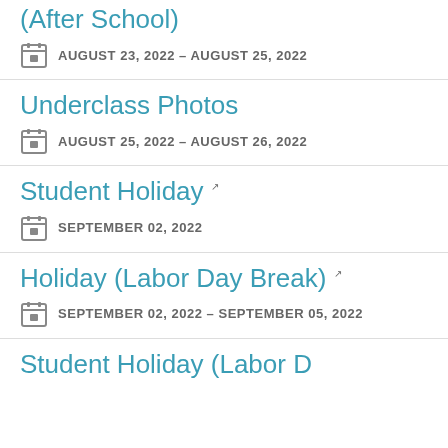(After School)
AUGUST 23, 2022 – AUGUST 25, 2022
Underclass Photos
AUGUST 25, 2022 – AUGUST 26, 2022
Student Holiday
SEPTEMBER 02, 2022
Holiday (Labor Day Break)
SEPTEMBER 02, 2022 – SEPTEMBER 05, 2022
Student Holiday (Labor D...